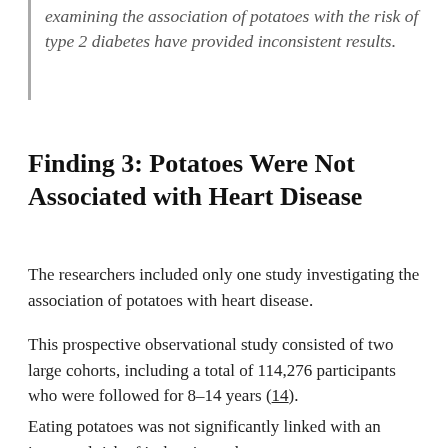examining the association of potatoes with the risk of type 2 diabetes have provided inconsistent results.
Finding 3: Potatoes Were Not Associated with Heart Disease
The researchers included only one study investigating the association of potatoes with heart disease.
This prospective observational study consisted of two large cohorts, including a total of 114,276 participants who were followed for 8–14 years (14).
Eating potatoes was not significantly linked with an increased risk of ischemic stroke.